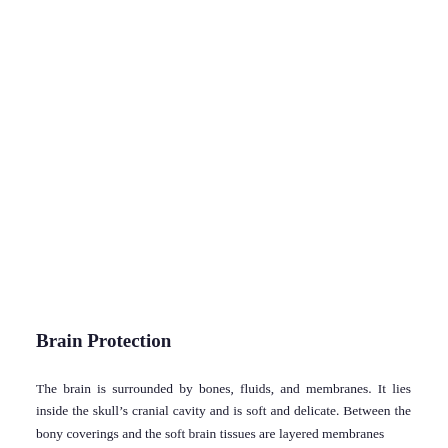Brain Protection
The brain is surrounded by bones, fluids, and membranes. It lies inside the skull’s cranial cavity and is soft and delicate. Between the bony coverings and the soft brain tissues are layered membranes